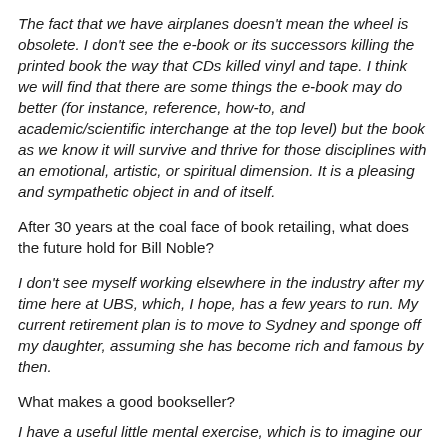The fact that we have airplanes doesn't mean the wheel is obsolete. I don't see the e-book or its successors killing the printed book the way that CDs killed vinyl and tape. I think we will find that there are some things the e-book may do better (for instance, reference, how-to, and academic/scientific interchange at the top level) but the book as we know it will survive and thrive for those disciplines with an emotional, artistic, or spiritual dimension. It is a pleasing and sympathetic object in and of itself.
After 30 years at the coal face of book retailing, what does the future hold for Bill Noble?
I don't see myself working elsewhere in the industry after my time here at UBS, which, I hope, has a few years to run. My current retirement plan is to move to Sydney and sponge off my daughter, assuming she has become rich and famous by then.
What makes a good bookseller?
I have a useful little mental exercise, which is to imagine our